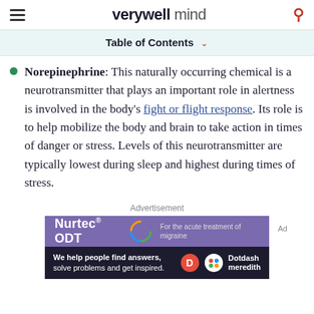verywell mind
Table of Contents
Norepinephrine: This naturally occurring chemical is a neurotransmitter that plays an important role in alertness is involved in the body's fight or flight response. Its role is to help mobilize the body and brain to take action in times of danger or stress. Levels of this neurotransmitter are typically lowest during sleep and highest during times of stress.
Advertisement
[Figure (screenshot): Nurtec ODT advertisement banner - purple background with Nurtec ODT logo and text 'For the acute treatment of migraine']
[Figure (screenshot): Dotdash Meredith footer banner - dark background with text 'We help people find answers, solve problems and get inspired.' with Dotdash Meredith logo]